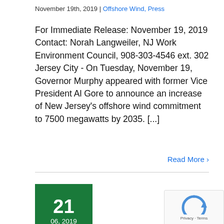November 19th, 2019 | Offshore Wind, Press
For Immediate Release: November 19, 2019 Contact: Norah Langweiler, NJ Work Environment Council, 908-303-4546 ext. 302 Jersey City - On Tuesday, November 19, Governor Murphy appeared with former Vice President Al Gore to announce an increase of New Jersey’s offshore wind commitment to 7500 megawatts by 2035. [...]
Read More ›
21
06, 2019